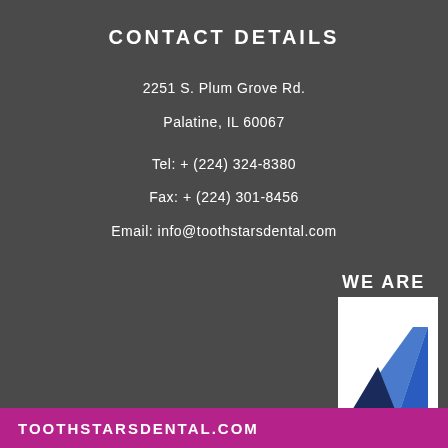CONTACT DETAILS
2251 S. Plum Grove Rd.
Palatine, IL 60067

Tel: + (224) 324-8380

Fax: + (224) 301-8456

Email: info@toothstarsdental.com
[Figure (logo): WE ARE text with a partial logo/icon showing a white background with a blue and dark geometric shape (partial view of a logo)]
TOOTHSTARSDENTAL.COM